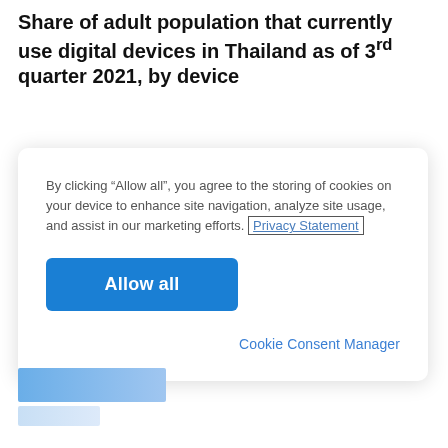Share of adult population that currently use digital devices in Thailand as of 3rd quarter 2021, by device
By clicking “Allow all”, you agree to the storing of cookies on your device to enhance site navigation, analyze site usage, and assist in our marketing efforts. Privacy Statement
Allow all
Cookie Consent Manager
[Figure (other): Partial view of a horizontal bar chart showing two bars, partially obscured by the cookie consent modal overlay.]